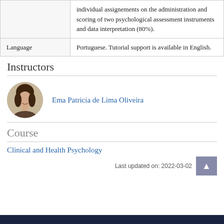|  |  |
| --- | --- |
|  | individual assignements on the administration and scoring of two psychological assessment instruments and data interpretation (80%). |
| Language | Portuguese. Tutorial support is available in English. |
Instructors
[Figure (photo): Circular portrait photo of Ema Patricia de Lima Oliveira, a woman with dark hair, smiling]
Ema Patricia de Lima Oliveira
Course
Clinical and Health Psychology
Last updated on: 2022-03-02